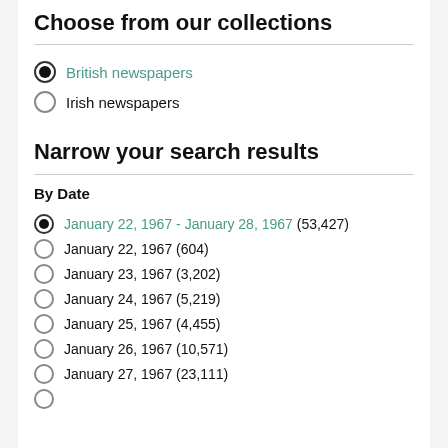Choose from our collections
British newspapers (selected)
Irish newspapers
Narrow your search results
By Date
January 22, 1967 - January 28, 1967 (53,427) (selected)
January 22, 1967 (604)
January 23, 1967 (3,202)
January 24, 1967 (5,219)
January 25, 1967 (4,455)
January 26, 1967 (10,571)
January 27, 1967 (23,111)